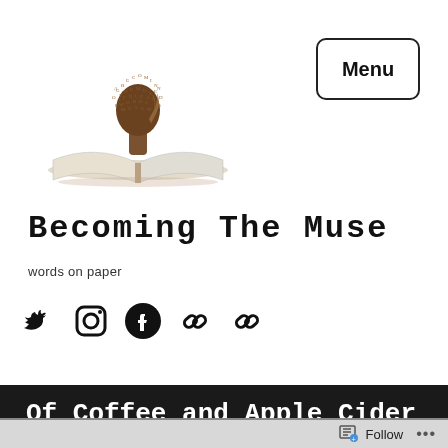[Figure (logo): Becoming The Muse logo: silhouette of an African figure with text/letters forming an afro, standing over an open book, in brown tones]
Menu
Becoming The Muse
words on paper
[Figure (infographic): Social media icons row: Twitter bird, Instagram camera, Facebook circle, two chain/link icons]
Of Coffee and Apple Cider Vinegar
Follow ...